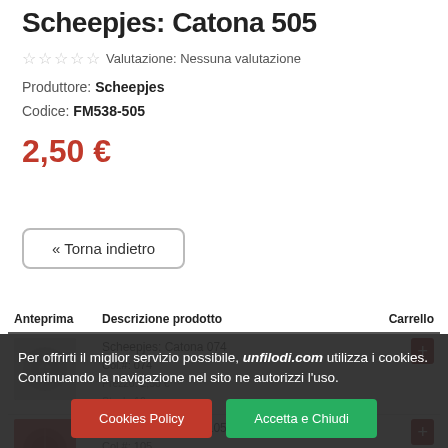Scheepjes: Catona 505
☆ ☆ ☆ ☆ ☆  Valutazione: Nessuna valutazione
Produttore:  Scheepjes
Codice:  FM538-505
2,50 €
« Torna indietro
| Anteprima | Descrizione prodotto | Carrello |
| --- | --- | --- |
| [image] | Scheepjes: Catona 074
Col.#: 074
Prezzo: 2,50 €
Stock: 10 | [cart] |
| [image] | Scheepjes: Catona 105
Col.#: 105 | [cart] |
Per offrirti il miglior servizio possibile, unfilodi.com utilizza i cookies. Continuando la navigazione nel sito ne autorizzi l'uso.
Cookies Policy
Accetta e Chiudi